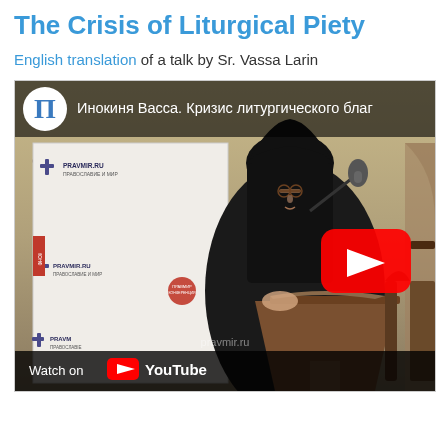The Crisis of Liturgical Piety
English translation of a talk by Sr. Vassa Larin
[Figure (screenshot): YouTube video thumbnail showing a nun (Sr. Vassa Larin) speaking at a podium in front of a Pravmir.ru banner backdrop, with a YouTube play button overlay. The video title in Russian reads: Инокиня Васса. Кризис литургического благочестия. Bottom bar shows 'Watch on YouTube'. Watermark reads pravmir.ru.]